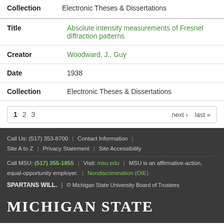Collection   Electronic Theses & Dissertations
| Field | Value |
| --- | --- |
| Title | Absolute intensity measurements of Fresnel diffraction patterns |
| Creator | Woodward, J., Guy |
| Date | 1938 |
| Collection | Electronic Theses & Dissertations |
1 2 3   next › last »
Call Us: (517) 353-8700 | Contact Information | Site A to Z | Privacy Statement | Site Accessibility | Call MSU: (517) 355-1855 | Visit: msu.edu | MSU is an affirmative-action, equal-opportunity employer. | Nondiscrimination (OIE) | SPARTANS WILL. | © Michigan State University Board of Trustees | MICHIGAN STATE